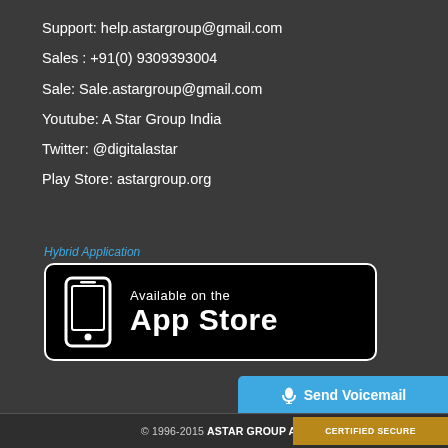Support: help.astargroup@gmail.com
Sales : +91(0) 9309393004
Sale: Sale.astargroup@gmail.com
Youtube: A Star Group India
Twitter: @digitalastar
Play Store: astargroup.org
Hybrid Application
[Figure (logo): App Store button with phone icon and text 'Available on the App Store']
© 1996-2015 ASTAR GROUP A...
[Figure (infographic): Send Voicemail button with microphone icon in blue]